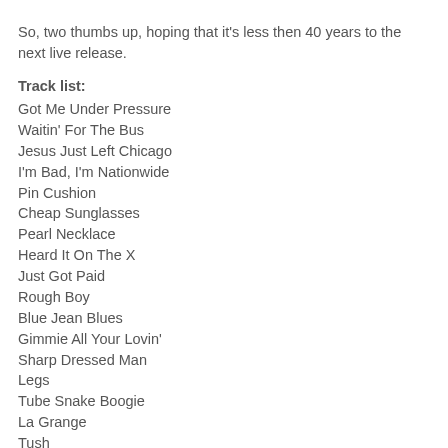So, two thumbs up, hoping that it's less then 40 years to the next live release.
Track list:
Got Me Under Pressure
Waitin' For The Bus
Jesus Just Left Chicago
I'm Bad, I'm Nationwide
Pin Cushion
Cheap Sunglasses
Pearl Necklace
Heard It On The X
Just Got Paid
Rough Boy
Blue Jean Blues
Gimmie All Your Lovin'
Sharp Dressed Man
Legs
Tube Snake Boogie
La Grange
Tush